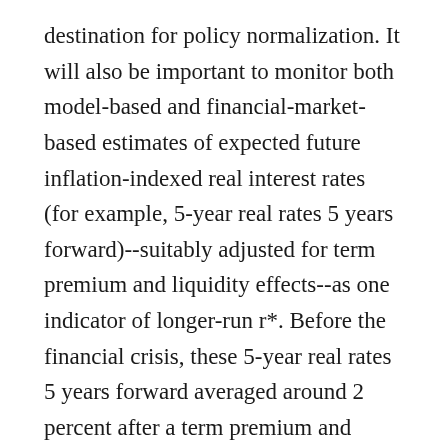destination for policy normalization. It will also be important to monitor both model-based and financial-market-based estimates of expected future inflation-indexed real interest rates (for example, 5-year real rates 5 years forward)--suitably adjusted for term premium and liquidity effects--as one indicator of longer-run r*. Before the financial crisis, these 5-year real rates 5 years forward averaged around 2 percent after a term premium and liquidity adjustment. Since 2015, they have averaged about 0.50 percent but recently have approached 0.75 percent, also after a term and liquidity premium adjustment. Given that real interest rates and economic growth tend to move together over the longer run, one possible source of these upward revisions in forward real rates could be that financial